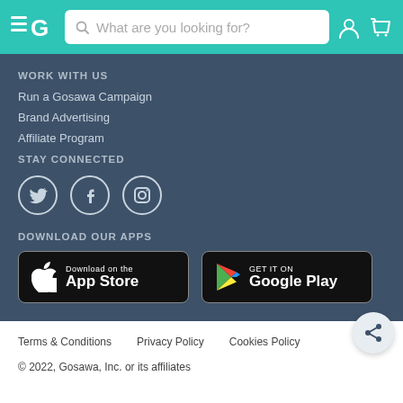[Figure (screenshot): Website header with teal/turquoise background showing hamburger menu, EG logo, search bar with 'What are you looking for?' placeholder, user icon, and cart icon]
WORK WITH US
Run a Gosawa Campaign
Brand Advertising
Affiliate Program
STAY CONNECTED
[Figure (illustration): Three social media icons: Twitter, Facebook, Instagram — white outlines on dark background circles]
DOWNLOAD OUR APPS
[Figure (illustration): Two app store buttons: 'Download on the App Store' (Apple) and 'GET IT ON Google Play' on black rounded rectangle backgrounds]
[Figure (illustration): Circular share button with share icon, white background, bottom-right corner]
Terms & Conditions    Privacy Policy    Cookies Policy
© 2022, Gosawa, Inc. or its affiliates